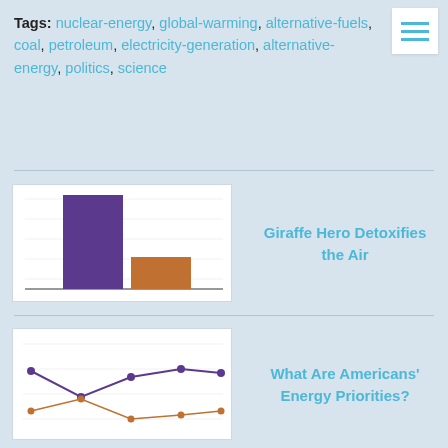Tags: nuclear-energy, global-warming, alternative-fuels, coal, petroleum, electricity-generation, alternative-energy, politics, science
[Figure (bar-chart): Bar chart with two bars: a tall purple bar and a shorter orange bar]
Giraffe Hero Detoxifies the Air
[Figure (line-chart): Line chart with two lines: purple and orange, showing trends across multiple data points]
What Are Americans' Energy Priorities?